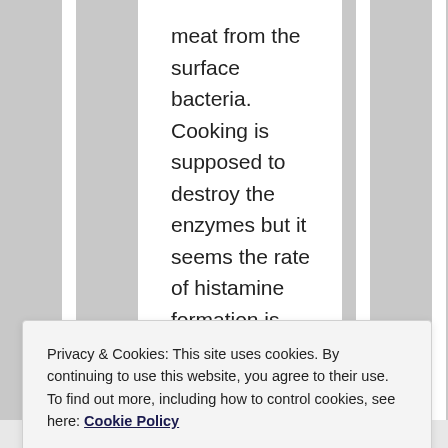meat from the surface bacteria. Cooking is supposed to destroy the enzymes but it seems the rate of histamine formation is even higher afterwards compared with raw meat. Thanks, Joe.
★ Like
Privacy & Cookies: This site uses cookies. By continuing to use this website, you agree to their use.
To find out more, including how to control cookies, see here: Cookie Policy
Close and accept
said: